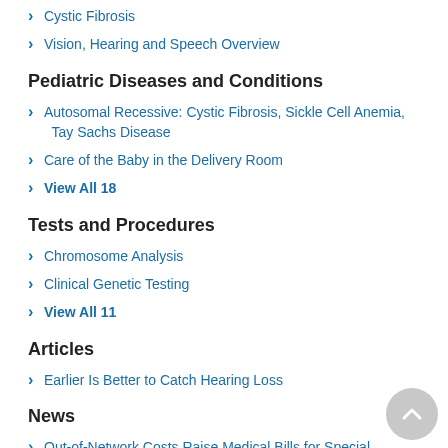Cystic Fibrosis
Vision, Hearing and Speech Overview
Pediatric Diseases and Conditions
Autosomal Recessive: Cystic Fibrosis, Sickle Cell Anemia, Tay Sachs Disease
Care of the Baby in the Delivery Room
View All 18
Tests and Procedures
Chromosome Analysis
Clinical Genetic Testing
View All 11
Articles
Earlier Is Better to Catch Hearing Loss
News
Out-of-Network Costs Raise Medical Bills for Special Needs Kids